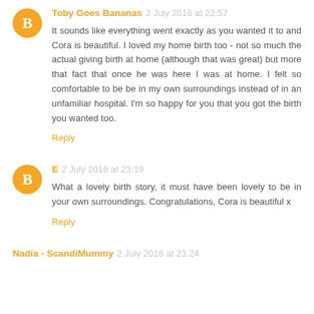Toby Goes Bananas 2 July 2016 at 22:57
It sounds like everything went exactly as you wanted it to and Cora is beautiful. I loved my home birth too - not so much the actual giving birth at home (although that was great) but more that fact that once he was here I was at home. I felt so comfortable to be be in my own surroundings instead of in an unfamiliar hospital. I'm so happy for you that you got the birth you wanted too.
Reply
E 2 July 2016 at 23:19
What a lovely birth story, it must have been lovely to be in your own surroundings. Congratulations, Cora is beautiful x
Reply
Nadia - ScandiMummy 2 July 2016 at 23:24